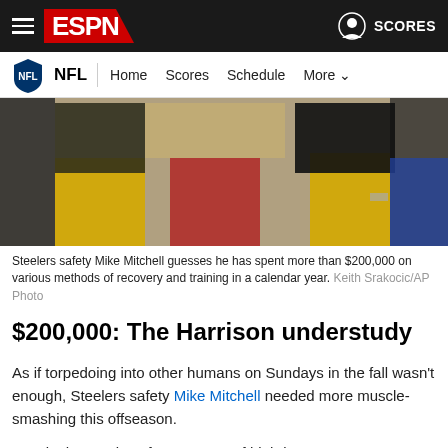ESPN NFL — Home Scores Schedule More
[Figure (photo): Steelers players in yellow uniforms and black shirts on sideline]
Steelers safety Mike Mitchell guesses he has spent more than $200,000 on various methods of recovery and training in a calendar year. Keith Srakocic/AP Photo
$200,000: The Harrison understudy
As if torpedoing into other humans on Sundays in the fall wasn't enough, Steelers safety Mike Mitchell needed more muscle-smashing this offseason.
He's in the Harrison farm system of high-income recovery methods, so anything experimental is fair game. Mitchell's